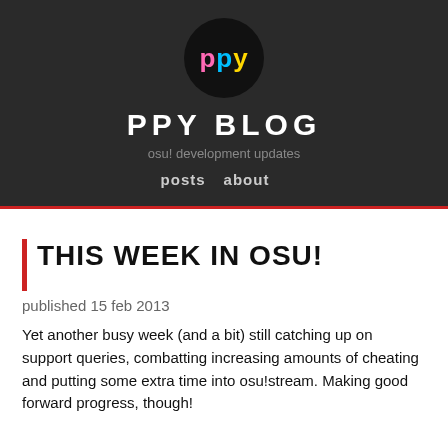[Figure (logo): PPY blog logo: dark oval/circle with colored letters 'ppy' — pink p, blue p, yellow y]
PPY BLOG
osu! development updates
posts   about
THIS WEEK IN OSU!
published 15 feb 2013
Yet another busy week (and a bit) still catching up on support queries, combatting increasing amounts of cheating and putting some extra time into osu!stream. Making good forward progress, though!